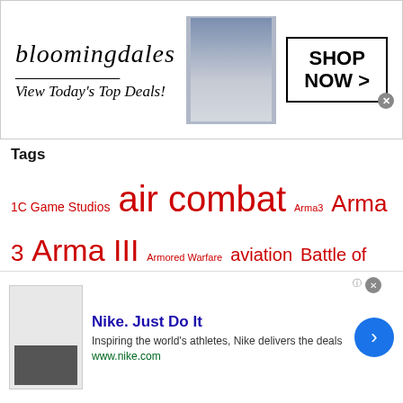[Figure (other): Bloomingdales advertisement banner: 'View Today's Top Deals!' with SHOP NOW button and woman in hat]
Tags
1C Game Studios air combat Arma3 Arma 3 Arma III Armored Warfare aviation Battle of Moscow Battle of Stalingrad Bohemia Interactive calendars Cloud Imperium Games DayZ DCS DCS World Digital Combat Simulator Eagle Dynamics Elite: Dangerous Elite Dangerous: Horizons flight simulation Frontier Developments Game Labs Gaming PC Ground Combat hardware IL-2 IL-2 Sturmovik Matrix Games Naval Action naval combat Naval Simulation Nvidia PC games reviews space Space Combat Space Exploration Space Sim Star Citizen Steam strategy Survival Sim trains Wargaming World of Warships
[Figure (other): Nike advertisement: 'Nike. Just Do It' with tagline 'Inspiring the world's athletes, Nike delivers the deals' and www.nike.com]